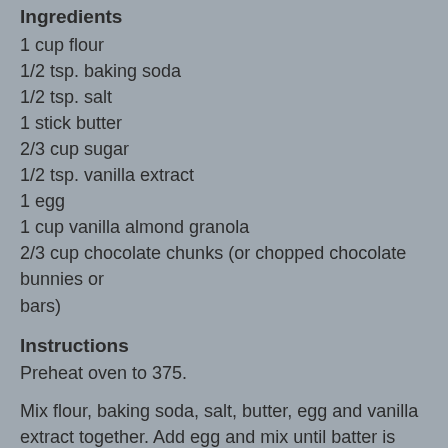Ingredients
1 cup flour
1/2 tsp. baking soda
1/2 tsp. salt
1 stick butter
2/3 cup sugar
1/2 tsp. vanilla extract
1 egg
1 cup vanilla almond granola
2/3 cup chocolate chunks (or chopped chocolate bunnies or bars)
Instructions
Preheat oven to 375.
Mix flour, baking soda, salt, butter, egg and vanilla extract together. Add egg and mix until batter is smooth. Mix in granola and chocolate. Drop by heaping tablespoons on greased cookie sheet.
Bake 8-10 minutes. Makes about two dozen.
Find more ideas at Fabulously Frugal Thursday, Recipe